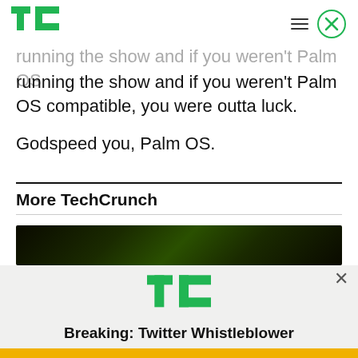TechCrunch
running the show and if you weren't Palm OS compatible, you were outta luck.
Godspeed you, Palm OS.
More TechCrunch
[Figure (screenshot): Dark green/black image strip - article thumbnail]
[Figure (infographic): TechCrunch popup ad with TC logo, headline 'Breaking: Twitter Whistleblower' and a yellow 'READ NOW' button]